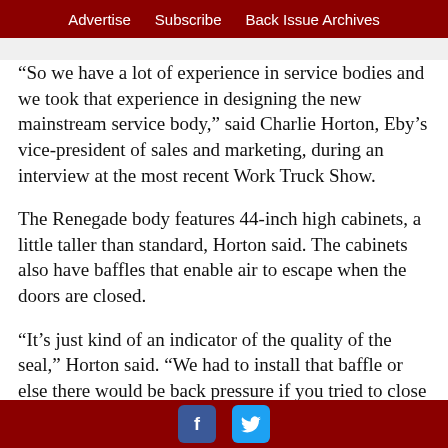Advertise   Subscribe   Back Issue Archives
“So we have a lot of experience in service bodies and we took that experience in designing the new mainstream service body,” said Charlie Horton, Eby’s vice-president of sales and marketing, during an interview at the most recent Work Truck Show.
The Renegade body features 44-inch high cabinets, a little taller than standard, Horton said. The cabinets also have baffles that enable air to escape when the doors are closed.
“It’s just kind of an indicator of the quality of the seal,” Horton said. “We had to install that baffle or else there would be back pressure if you tried to close the door.”
The sides and cabinetry are formed from pre-painted aluminum. The interior of the compartments, however, are unfinished because that’s an area that takes abuse,” Horton
[Facebook icon] [Twitter icon]